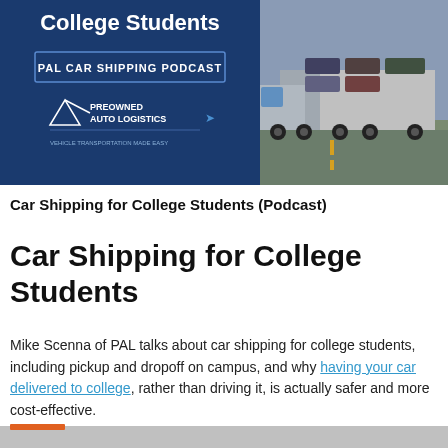[Figure (illustration): PAL Car Shipping Podcast banner image with blue background, text 'College Students', 'PAL CAR SHIPPING PODCAST', 'PreOwned Auto Logistics' logo, and a car carrier truck on a highway on the right side.]
Car Shipping for College Students (Podcast)
Car Shipping for College Students
Mike Scenna of PAL talks about car shipping for college students, including pickup and dropoff on campus, and why having your car delivered to college, rather than driving it, is actually safer and more cost-effective.
[Figure (other): Bottom gray bar with orange accent stripe at top]